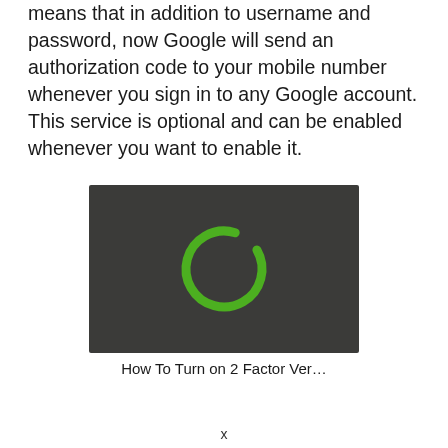means that in addition to username and password, now Google will send an authorization code to your mobile number whenever you sign in to any Google account. This service is optional and can be enabled whenever you want to enable it.
[Figure (screenshot): Video thumbnail showing a dark background with a green loading/buffering ring icon in the center, indicating a video player loading state.]
How To Turn on 2 Factor Ver…
x